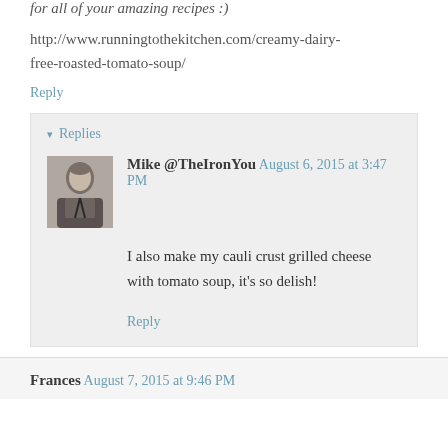for all of your amazing recipes :)
http://www.runningtothekitchen.com/creamy-dairy-free-roasted-tomato-soup/
Reply
Replies
Mike @TheIronYou August 6, 2015 at 3:47 PM
I also make my cauli crust grilled cheese with tomato soup, it's so delish!
Reply
Frances August 7, 2015 at 9:46 PM